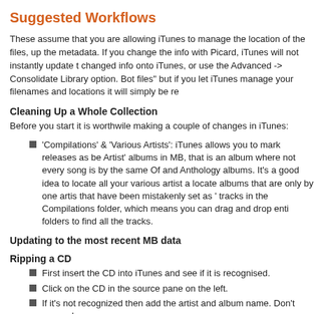Suggested Workflows
These assume that you are allowing iTunes to manage the location of the files, up the metadata. If you change the info with Picard, iTunes will not instantly update t changed info onto iTunes, or use the Advanced -> Consolidate Library option. Bot files" but if you let iTunes manage your filenames and locations it will simply be re
Cleaning Up a Whole Collection
Before you start it is worthwile making a couple of changes in iTunes:
'Compilations' & 'Various Artists': iTunes allows you to mark releases as be Artist' albums in MB, that is an album where not every song is by the same Of and Anthology albums. It's a good idea to locate all your various artist a locate albums that are only by one artis that have been mistakenly set as ' tracks in the Compilations folder, which means you can drag and drop enti folders to find all the tracks.
Updating to the most recent MB data
Ripping a CD
First insert the CD into iTunes and see if it is recognised.
Click on the CD in the source pane on the left.
If it's not recognized then add the artist and album name. Don't worry abou
If it is recognized, you can fix any terrible errors in artist or album name
Make sure to mark it as 'compilation' only if it is a Various Artists release, a replaced or deleted by Picard by default and the default will probably be no
Rip the CD
The files should be in folders named Artist/Album Name, drag and drop th
Since you have the CD in the machine anyway, lookup the CDID in Musicb